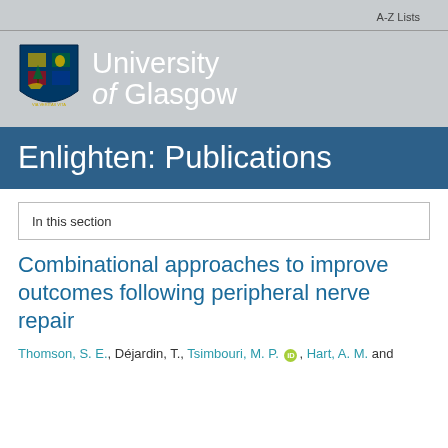A-Z Lists
[Figure (logo): University of Glasgow crest and wordmark on grey background]
Enlighten: Publications
In this section
Combinational approaches to improve outcomes following peripheral nerve repair
Thomson, S. E., Déjardin, T., Tsimbouri, M. P., Hart, A. M. and